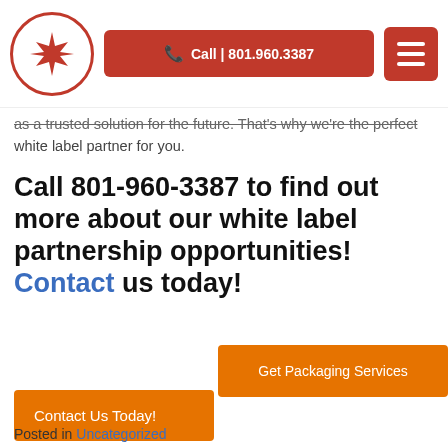Call | 801.960.3387
as a trusted solution for the future. That's why we're the perfect white label partner for you.
Call 801-960-3387 to find out more about our white label partnership opportunities! Contact us today!
[Figure (other): Orange button: Get Packaging Services]
[Figure (other): Orange button: Contact Us Today!]
Posted in Uncategorized